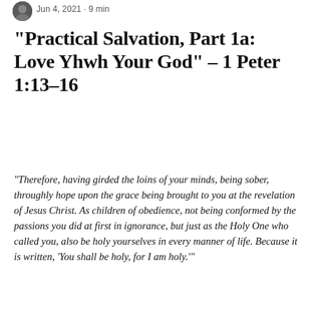Jun 4, 2021 · 9 min
“Practical Salvation, Part 1a: Love Yhwh Your God” – 1 Peter 1:13–16
“Therefore, having girded the loins of your minds, being sober, throughly hope upon the grace being brought to you at the revelation of Jesus Christ. As children of obedience, not being conformed by the passions you did at first in ignorance, but just as the Holy One who called you, also be holy yourselves in every manner of life. Because it is written, ‘You shall be holy, for I am holy.’”